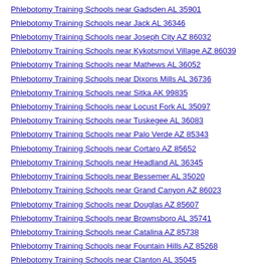Phlebotomy Training Schools near Gadsden AL 35901
Phlebotomy Training Schools near Jack AL 36346
Phlebotomy Training Schools near Joseph City AZ 86032
Phlebotomy Training Schools near Kykotsmovi Village AZ 86039
Phlebotomy Training Schools near Mathews AL 36052
Phlebotomy Training Schools near Dixons Mills AL 36736
Phlebotomy Training Schools near Sitka AK 99835
Phlebotomy Training Schools near Locust Fork AL 35097
Phlebotomy Training Schools near Tuskegee AL 36083
Phlebotomy Training Schools near Palo Verde AZ 85343
Phlebotomy Training Schools near Cortaro AZ 85652
Phlebotomy Training Schools near Headland AL 36345
Phlebotomy Training Schools near Bessemer AL 35020
Phlebotomy Training Schools near Grand Canyon AZ 86023
Phlebotomy Training Schools near Douglas AZ 85607
Phlebotomy Training Schools near Brownsboro AL 35741
Phlebotomy Training Schools near Catalina AZ 85738
Phlebotomy Training Schools near Fountain Hills AZ 85268
Phlebotomy Training Schools near Clanton AL 35045